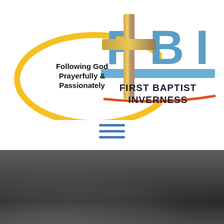[Figure (logo): First Baptist Inverness church logo. Features a yellow/gold elliptical swoosh with the text 'Following God Prayerfully & Passionately' inside, a cross in gold/tan colors overlapping large blue letters 'FBI', and below 'FIRST BAPTIST INVERNESS' in dark text with a red/orange swoosh underline.]
[Figure (other): Hamburger menu icon consisting of three horizontal blue lines stacked vertically.]
[Figure (photo): Blurred dark photograph at the bottom of the page, appearing to show indistinct dark shapes, possibly an outdoor or indoor scene.]